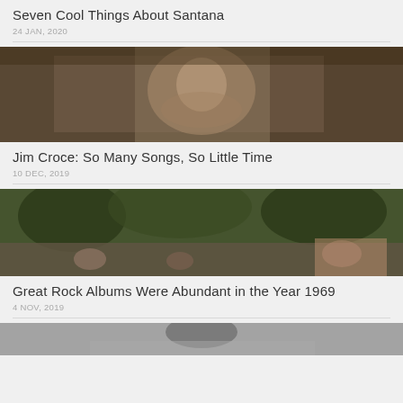Seven Cool Things About Santana
24 JAN, 2020
[Figure (photo): Sepia-toned photograph of Jim Croce playing guitar]
Jim Croce: So Many Songs, So Little Time
10 DEC, 2019
[Figure (photo): Color photograph of a crowd scene outdoors with trees, 1969 era]
Great Rock Albums Were Abundant in the Year 1969
4 NOV, 2019
[Figure (photo): Partial photograph at bottom of page, black and white, person's head visible]